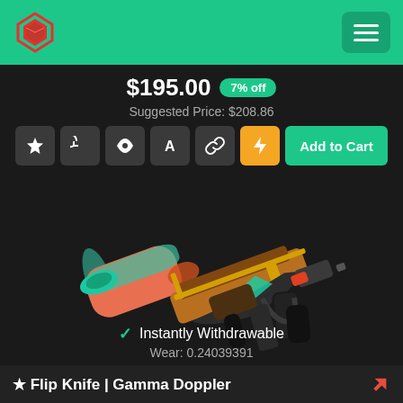Header with logo and menu
$195.00  7% off
Suggested Price: $208.86
[Figure (photo): MP5-SD weapon skin with colorful orange and teal Doppler-style paint pattern, displayed on dark background]
Instantly Withdrawable
Wear: 0.24039391
★ Flip Knife | Gamma Doppler